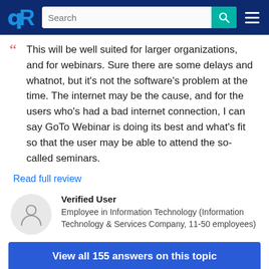TrustRadius — Search navigation bar
This will be well suited for larger organizations, and for webinars. Sure there are some delays and whatnot, but it's not the software's problem at the time. The internet may be the cause, and for the users who's had a bad internet connection, I can say GoTo Webinar is doing its best and what's fit so that the user may be able to attend the so-called seminars.
Read full review
Verified User
Employee in Information Technology (Information Technology & Services Company, 11-50 employees)
View all 155 answers on this topic